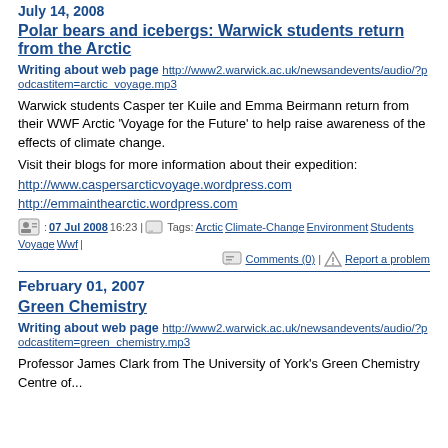Polar bears and icebergs: Warwick students return from the Arctic
Writing about web page http://www2.warwick.ac.uk/newsandevents/audio/?podcastitem=arctic_voyage.mp3
Warwick students Casper ter Kuile and Emma Beirmann return from their WWF Arctic 'Voyage for the Future' to help raise awareness of the effects of climate change.
Visit their blogs for more information about their expedition:
http://www.caspersarcticvoyage.wordpress.com
http://emmainthearctic.wordpress.com
07 Jul 2008 16:23 | Tags: Arctic Climate-Change Environment Students Voyage Wwf | Comments (0) | Report a problem
February 01, 2007
Green Chemistry
Writing about web page http://www2.warwick.ac.uk/newsandevents/audio/?podcastitem=green_chemistry.mp3
Professor James Clark from The University of York's Green Chemistry Centre of...